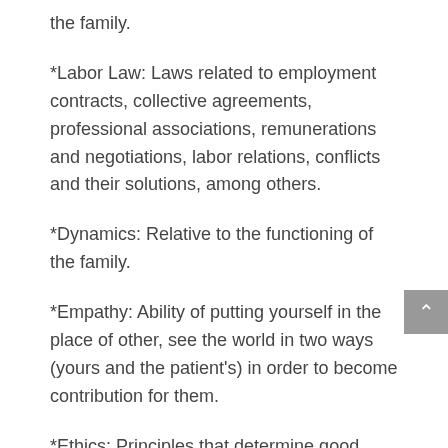the family.
*Labor Law: Laws related to employment contracts, collective agreements, professional associations, remunerations and negotiations, labor relations, conflicts and their solutions, among others.
*Dynamics: Relative to the functioning of the family.
*Empathy: Ability of putting yourself in the place of other, see the world in two ways (yours and the patient's) in order to become contribution for them.
*Ethics: Principles that determine good